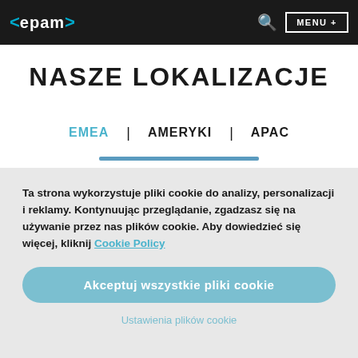<epam> [search] MENU +
NASZE LOKALIZACJE
EMEA | AMERYKI | APAC
Ta strona wykorzystuje pliki cookie do analizy, personalizacji i reklamy. Kontynuując przeglądanie, zgadzasz się na używanie przez nas plików cookie. Aby dowiedzieć się więcej, kliknij Cookie Policy
Akceptuj wszystkie pliki cookie
Ustawienia plików cookie